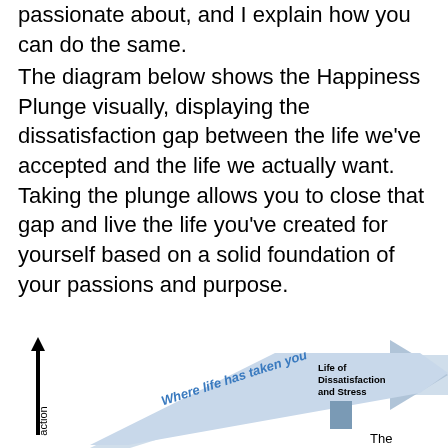passionate about, and I explain how you can do the same.
The diagram below shows the Happiness Plunge visually, displaying the dissatisfaction gap between the life we've accepted and the life we actually want. Taking the plunge allows you to close that gap and live the life you've created for yourself based on a solid foundation of your passions and purpose.
[Figure (infographic): Happiness Plunge diagram showing a vertical axis (y-axis with upward arrow) and a large light-blue arrow pointing to the upper right labeled 'Where life has taken you' in blue italic text, with a label 'Life of Dissatisfaction and Stress' and a small blue-gray rectangle, and partial text 'The' at the bottom right. A rotated 'action' label appears on the left side of the y-axis.]